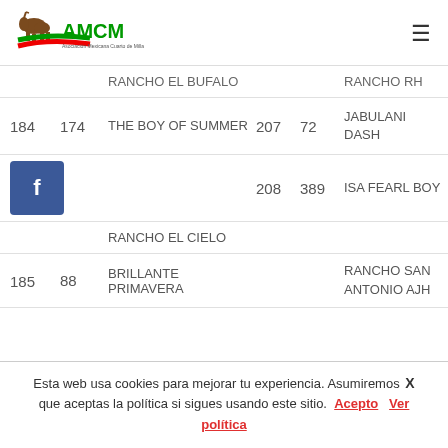AMCM logo and navigation
| # | ID | Horse Name | # | ID | Horse/Owner |
| --- | --- | --- | --- | --- | --- |
|  |  | RANCHO EL BUFALO |  |  | RANCHO RH |
| 184 | 174 | THE BOY OF SUMMER | 207 | 72 | JABULANI DASH |
|  |  | f | 208 | 389 | ISA FEARL BOY |
|  |  | RANCHO EL CIELO |  |  |  |
| 185 | 88 | BRILLANTE PRIMAVERA |  |  | RANCHO SAN ANTONIO AJH |
Esta web usa cookies para mejorar tu experiencia. Asumiremos que aceptas la política si sigues usando este sitio. Acepto Ver política